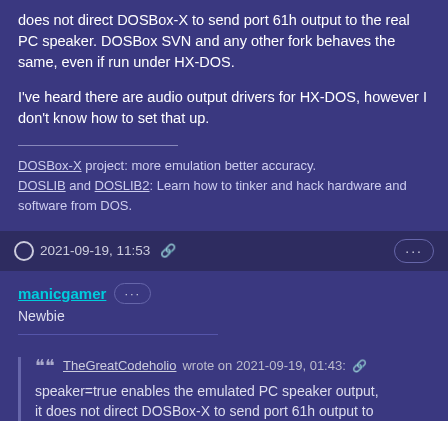does not direct DOSBox-X to send port 61h output to the real PC speaker. DOSBox SVN and any other fork behaves the same, even if run under HX-DOS.
I've heard there are audio output drivers for HX-DOS, however I don't know how to set that up.
DOSBox-X project: more emulation better accuracy. DOSLIB and DOSLIB2: Learn how to tinker and hack hardware and software from DOS.
2021-09-19, 11:53
manicgamer
Newbie
TheGreatCodeholio wrote on 2021-09-19, 01:43:
speaker=true enables the emulated PC speaker output, it does not direct DOSBox-X to send port 61h output to